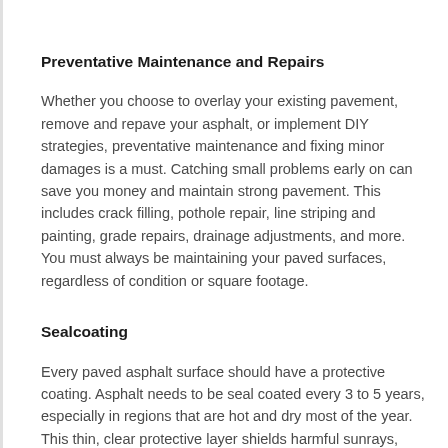Preventative Maintenance and Repairs
Whether you choose to overlay your existing pavement, remove and repave your asphalt, or implement DIY strategies, preventative maintenance and fixing minor damages is a must. Catching small problems early on can save you money and maintain strong pavement. This includes crack filling, pothole repair, line striping and painting, grade repairs, drainage adjustments, and more. You must always be maintaining your paved surfaces, regardless of condition or square footage.
Sealcoating
Every paved asphalt surface should have a protective coating. Asphalt needs to be seal coated every 3 to 5 years, especially in regions that are hot and dry most of the year. This thin, clear protective layer shields harmful sunrays, which prevents it from prematurely fading, cracking, and more. It also creates a waterproof barrier